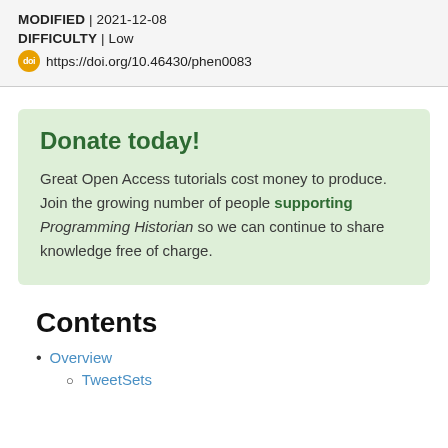MODIFIED | 2021-12-08
DIFFICULTY | Low
https://doi.org/10.46430/phen0083
Donate today!
Great Open Access tutorials cost money to produce. Join the growing number of people supporting Programming Historian so we can continue to share knowledge free of charge.
Contents
Overview
TweetSets